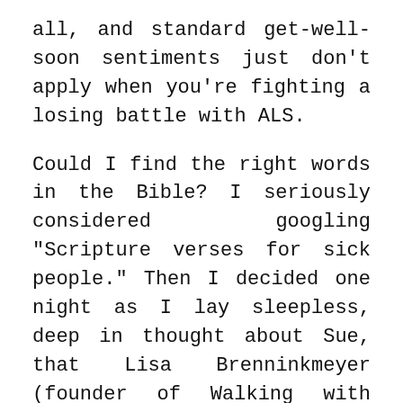all, and standard get-well-soon sentiments just don't apply when you're fighting a losing battle with ALS.
Could I find the right words in the Bible? I seriously considered googling "Scripture verses for sick people." Then I decided one night as I lay sleepless, deep in thought about Sue, that Lisa Brenninkmeyer (founder of Walking with Purpose) would have the right words for my letter.
The next morning I turned to the Walking with Purpose Bible study